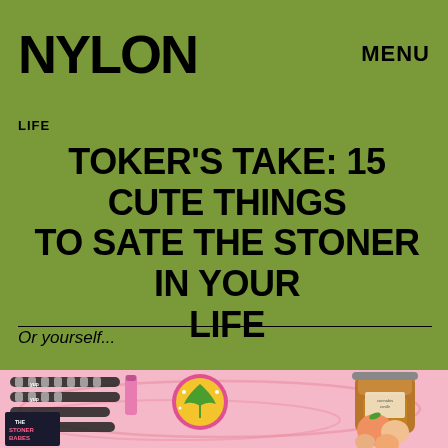NYLON   MENU
LIFE
TOKER'S TAKE: 15 CUTE THINGS TO SATE THE STONER IN YOUR LIFE
Or yourself...
[Figure (photo): Collage of cannabis-themed products on a pink background: black and white 'yup' branded pre-roll/cigarette tubes, pink lighter, amber jar candle with a label reading 'cannabis candle', 'The Stoner Babes' book cover with colorful illustration of a woman, a pixel art cannabis leaf sticker on a pink/yellow badge, and candy/gummy peach-shaped candies.]